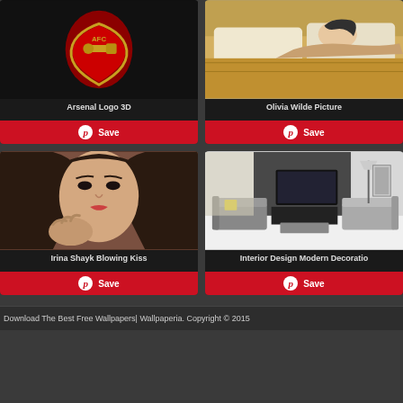[Figure (photo): Arsenal Logo 3D - red and gold shield badge with cannon on dark background]
Arsenal Logo 3D
[Figure (photo): Olivia Wilde Picture - woman reclining on bed with gold/yellow bedding]
Olivia Wilde Picture
[Figure (photo): Irina Shayk Blowing Kiss - brunette woman blowing a kiss toward camera]
Irina Shayk Blowing Kiss
[Figure (photo): Interior Design Modern Decoration - modern living room with grey sofa, TV, minimalist decor]
Interior Design Modern Decoratio
Download The Best Free Wallpapers| Wallpaperia. Copyright © 2015